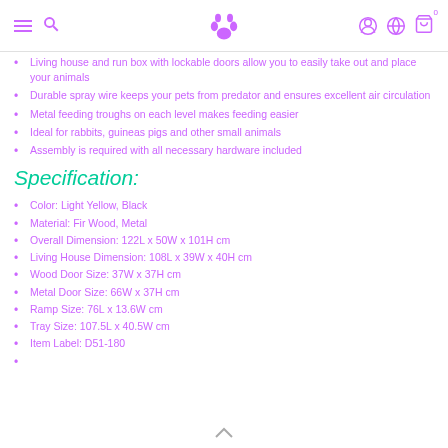Navigation header with hamburger menu, search icon, paw logo, user icon, globe icon, and cart icon with badge 0
Living house and run box with lockable doors allow you to easily take out and place your animals
Durable spray wire keeps your pets from predator and ensures excellent air circulation
Metal feeding troughs on each level makes feeding easier
Ideal for rabbits, guineas pigs and other small animals
Assembly is required with all necessary hardware included
Specification:
Color: Light Yellow, Black
Material: Fir Wood, Metal
Overall Dimension: 122L x 50W x 101H cm
Living House Dimension: 108L x 39W x 40H cm
Wood Door Size: 37W x 37H cm
Metal Door Size: 66W x 37H cm
Ramp Size: 76L x 13.6W cm
Tray Size: 107.5L x 40.5W cm
Item Label: D51-180